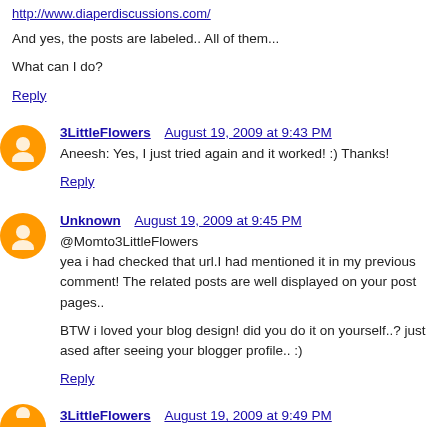http://www.diaperdiscussions.com/
And yes, the posts are labeled.. All of them...
What can I do?
Reply
3LittleFlowers  August 19, 2009 at 9:43 PM
Aneesh: Yes, I just tried again and it worked! :) Thanks!
Reply
Unknown  August 19, 2009 at 9:45 PM
@Momto3LittleFlowers
yea i had checked that url.I had mentioned it in my previous comment! The related posts are well displayed on your post pages..
BTW i loved your blog design! did you do it on yourself..? just ased after seeing your blogger profile.. :)
Reply
3LittleFlowers  August 19, 2009 at 9:49 PM